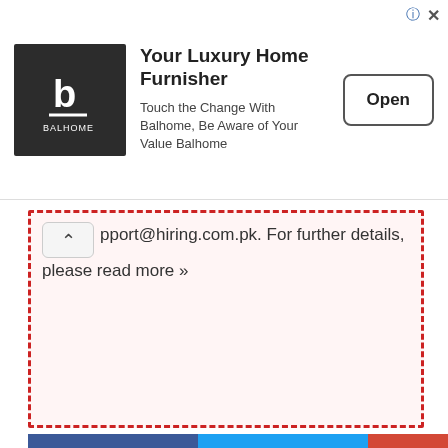[Figure (logo): Balhome luxury home furnisher advertisement banner with logo, tagline, and Open button]
pport@hiring.com.pk. For further details, please read more »
f Facebook   Twitter   G+ Google Plus